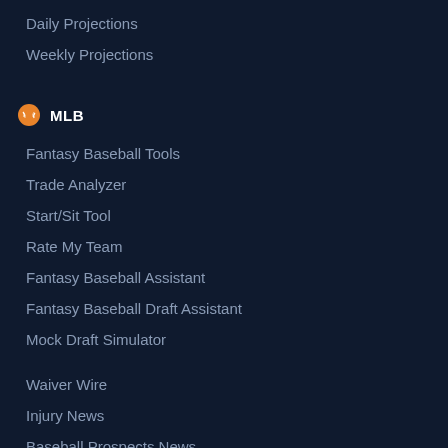Daily Projections
Weekly Projections
MLB
Fantasy Baseball Tools
Trade Analyzer
Start/Sit Tool
Rate My Team
Fantasy Baseball Assistant
Fantasy Baseball Draft Assistant
Mock Draft Simulator
Waiver Wire
Injury News
Baseball Prospects News
Average Draft Position
Offensive Rankings
Trade Value Charts